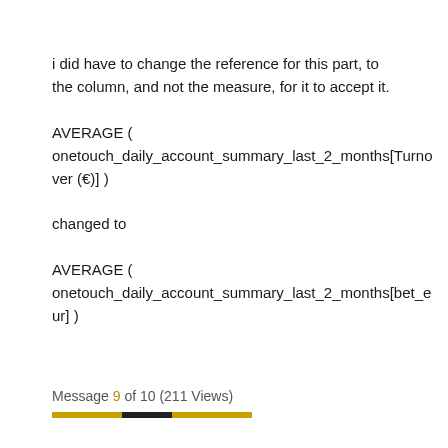i did have to change the reference for this part, to the column, and not the measure, for it to accept it.
AVERAGE ( onetouch_daily_account_summary_last_2_months[Turnover (€)] )
changed to
AVERAGE ( onetouch_daily_account_summary_last_2_months[bet_eur] )
Message 9 of 10 (211 Views)